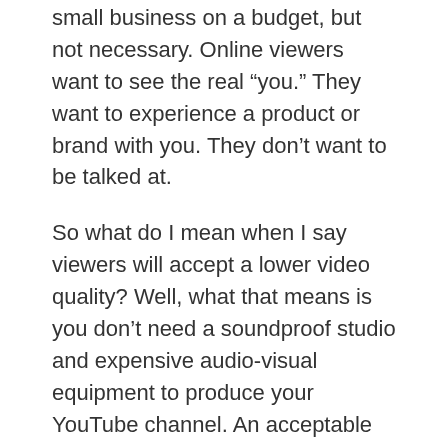small business on a budget, but not necessary. Online viewers want to see the real “you.” They want to experience a product or brand with you. They don’t want to be talked at.
So what do I mean when I say viewers will accept a lower video quality? Well, what that means is you don’t need a soundproof studio and expensive audio-visual equipment to produce your YouTube channel. An acceptable video can be accomplished with a smartphone and a decent microphone. That’s the hitch! As long as the SOUND is quality good, meaning there isn’t wind noise, or low muffled voices – then you are good-to-go!
I have several thousand dollars (cheap by A/V